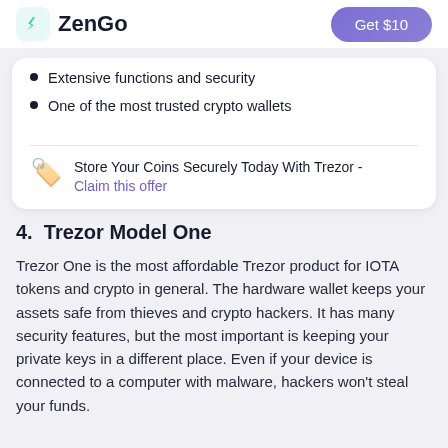ZenGo | Get $10
Extensive functions and security
One of the most trusted crypto wallets
Store Your Coins Securely Today With Trezor - Claim this offer
4.  Trezor Model One
Trezor One is the most affordable Trezor product for IOTA tokens and crypto in general. The hardware wallet keeps your assets safe from thieves and crypto hackers. It has many security features, but the most important is keeping your private keys in a different place. Even if your device is connected to a computer with malware, hackers won't steal your funds.